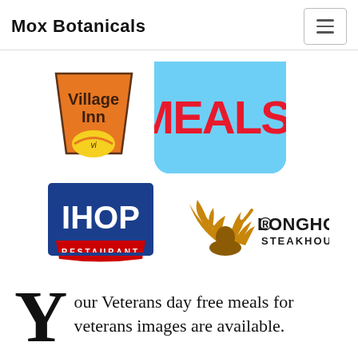Mox Botanicals
[Figure (logo): Village Inn restaurant logo - orange trapezoid with Village Inn text and yellow circle with 'vi']
[Figure (logo): Partial blue box with large red text 'MEALS!' partially visible]
[Figure (logo): IHOP Restaurant logo - blue rectangle with white IHOP text and red Restaurant banner]
[Figure (logo): LongHorn Steakhouse logo with antler graphic and text]
Your Veterans day free meals for veterans images are available.